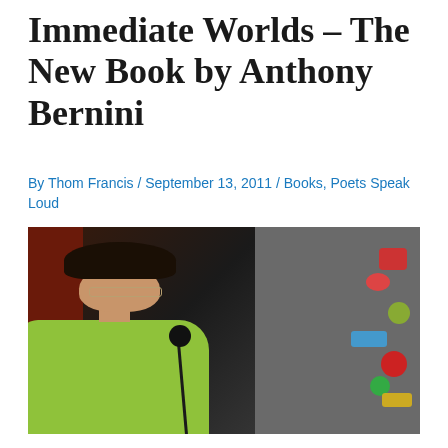Immediate Worlds – The New Book by Anthony Bernini
By Thom Francis / September 13, 2011 / Books, Poets Speak Loud
[Figure (photo): A man with curly dark hair and glasses wearing a light green polo shirt, speaking at a microphone. In the background is a sticker-covered refrigerator or board. The photo appears to be taken at a poetry reading event.]